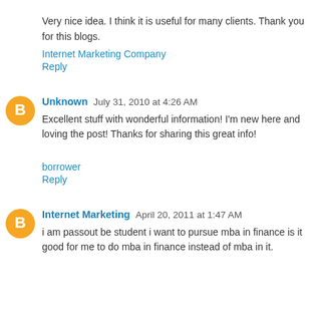Very nice idea. I think it is useful for many clients. Thank you for this blogs.
Internet Marketing Company
Reply
Unknown  July 31, 2010 at 4:26 AM
Excellent stuff with wonderful information! I'm new here and loving the post! Thanks for sharing this great info!
borrower
Reply
Internet Marketing  April 20, 2011 at 1:47 AM
i am passout be student i want to pursue mba in finance is it good for me to do mba in finance instead of mba in it.